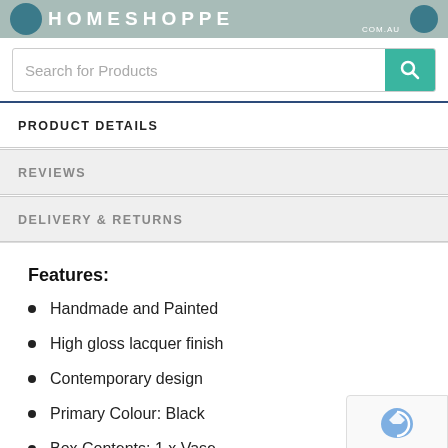[Figure (logo): HomeHopp.com.au website header logo with teal/blue circular icons and text on grey-green background]
Search for Products
PRODUCT DETAILS
REVIEWS
DELIVERY & RETURNS
Features:
Handmade and Painted
High gloss lacquer finish
Contemporary design
Primary Colour: Black
Box Contents: 1 x Vase